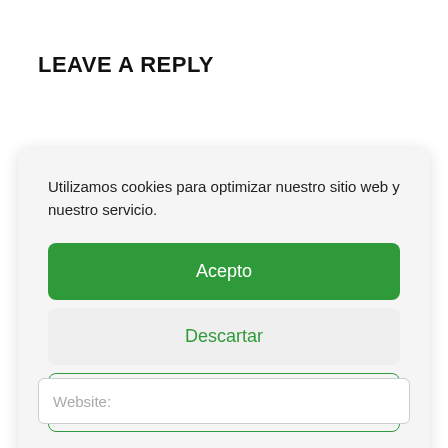LEAVE A REPLY
Utilizamos cookies para optimizar nuestro sitio web y nuestro servicio.
Acepto
Descartar
Preferencias
Politica de cookies   Privacy Policy
Website: